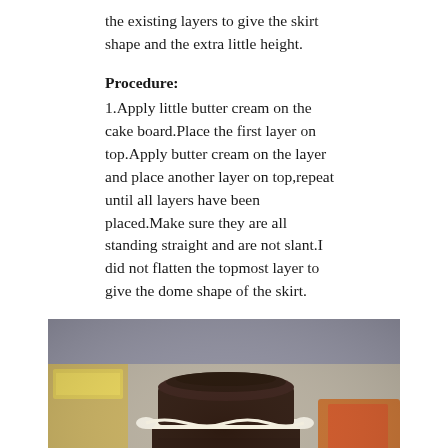the existing layers to give the skirt shape and the extra little height.
Procedure:
1.Apply little butter cream on the cake board.Place the first layer on top.Apply butter cream on the layer and place another layer on top,repeat until all layers have been placed.Make sure they are all standing straight and are not slant.I did not flatten the topmost layer to give the dome shape of the skirt.
[Figure (photo): A layered chocolate cake with white butter cream between layers, viewed from the front on a white plate, with a kitchen background]